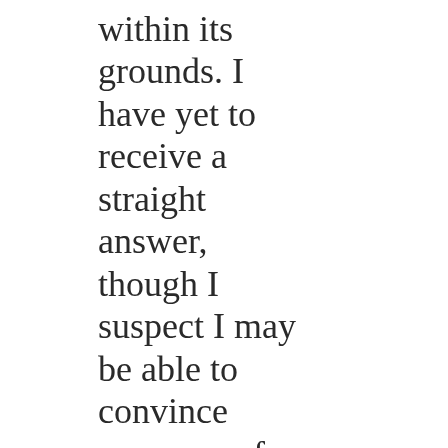within its grounds. I have yet to receive a straight answer, though I suspect I may be able to convince someone of the value of a dedicated music room should we be lacking one